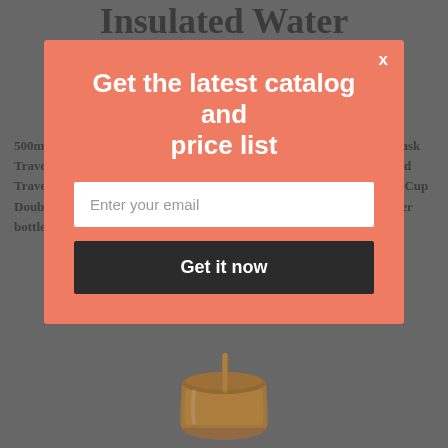Insulated Water Bottle Travel Mugs In Estonia
500ml Thermo Mug Steel Insulated Drinking Water Bottle Vacuum Flask Travel Mug Insulated Travel Mug Stainless Steel Coffee Mug, Insulated Travel Stainless Steel Mug Water Bottle Stainless Steel Double Walled Cup Double Wall Tumbler Coffee Water Bottle stainless steel insulated water bottle travel mugs
[Figure (screenshot): Modal popup overlay with salmon/coral background. Contains heading 'Get the latest catalog and price list', an email input field with placeholder 'Enter your email', and a dark 'Get it now' button. An 'x' close button appears at top right of modal.]
[Figure (photo): Partial view of an orange/amber insulated tumbler or travel mug with a straw, shown at bottom of page.]